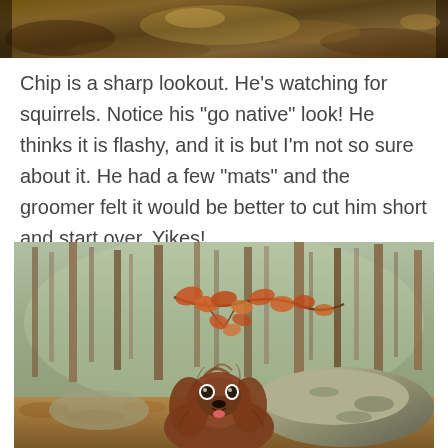[Figure (photo): Partial photo of a dog in a wooded outdoor setting, cropped at top of page]
Chip is a sharp lookout. He’s watching for squirrels. Notice his “go native” look! He thinks it is flashy, and it is but I’m not so sure about it. He had a few “mats” and the groomer felt it would be better to cut him short and start over. Yikes!
[Figure (photo): A brown cocker spaniel dog sitting behind a large rock in a forest with bare trees and orange autumn leaves on a branch in the background]